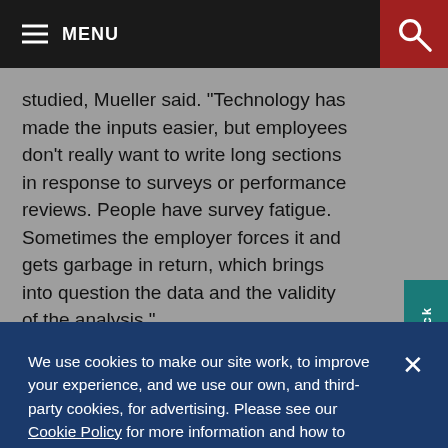MENU
studied, Mueller said. "Technology has made the inputs easier, but employees don't really want to write long sections in response to surveys or performance reviews. People have survey fatigue. Sometimes the employer forces it and gets garbage in return, which brings into question the data and the validity of the analysis."
We use cookies to make our site work, to improve your experience, and we use our own, and third-party cookies, for advertising. Please see our Cookie Policy for more information and how to disable them. By clicking accept, or closing the message and continuing to use this site, you agree to our use of cookies.
ACCEPT